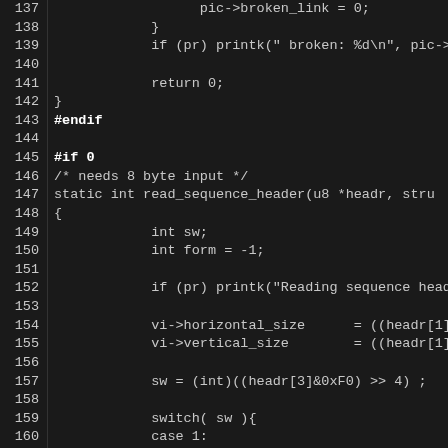[Figure (screenshot): Source code listing (C code) with dark background, showing lines 137-166+ of a C source file. Lines include preprocessor directives #endif and #if 0, a static function declaration read_sequence_header, variable declarations, printk calls, and a switch statement with case 1 and case 2.]